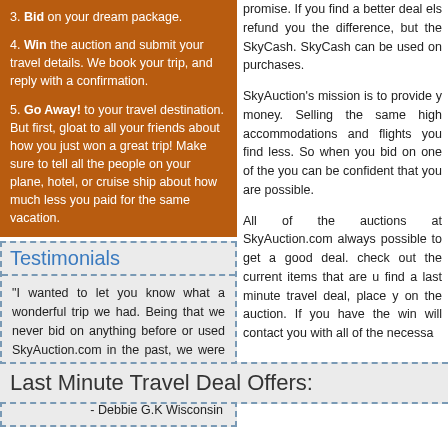3. Bid on your dream package.
4. Win the auction and submit your travel details. We book your trip, and reply with a confirmation.
5. Go Away! to your travel destination. But first, gloat to all your friends about how you just won a great trip! Make sure to tell all the people on your plane, hotel, or cruise ship about how much less you paid for the same vacation.
promise. If you find a better deal elsewhere, we'll refund you the difference, but the refund will be in SkyCash. SkyCash can be used on any SkyAuction.com purchases.
SkyAuction's mission is to provide you the best value for your money. Selling the same high quality hotels, accommodations and flights you find elsewhere, but for much less. So when you bid on one of the packages on our site, you can be confident that you are getting the best value possible.
All of the auctions at SkyAuction.com are great deals, but it's always possible to get a good deal. All you need to do is check out the current items that are up for auction. If you find a last minute travel deal, place your bid and keep an eye on the auction. If you have the winning bid, SkyAuction will contact you with all of the necessary details.
Testimonials
"I wanted to let you know what a wonderful trip we had. Being that we never bid on anything before or used SkyAuction.com in the past, we were pleasantly surprised how wonderful everything was."
- Debbie G.K Wisconsin
Register To Bid or
Last Minute Travel Deal Offers: